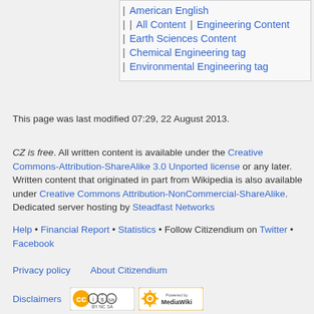American English
All Content | Engineering Content
Earth Sciences Content
Chemical Engineering tag
Environmental Engineering tag
This page was last modified 07:29, 22 August 2013.
CZ is free. All written content is available under the Creative Commons-Attribution-ShareAlike 3.0 Unported license or any later. Written content that originated in part from Wikipedia is also available under Creative Commons Attribution-NonCommercial-ShareAlike. Dedicated server hosting by Steadfast Networks
Help • Financial Report • Statistics • Follow Citizendium on Twitter • Facebook
Privacy policy   About Citizendium
Disclaimers